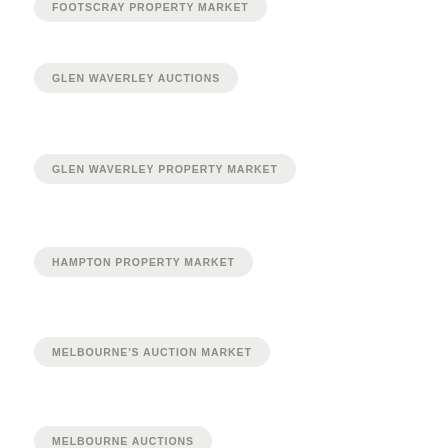FOOTSCRAY PROPERTY MARKET
GLEN WAVERLEY AUCTIONS
GLEN WAVERLEY PROPERTY MARKET
HAMPTON PROPERTY MARKET
MELBOURNE'S AUCTION MARKET
MELBOURNE AUCTIONS
MELBOURNE BUYERS AGENT
MELBOURNE PROPERTY MARKET
MELBOURNE REAL ESTATE
MOONEE PONDS PROPERTY MARKET
PORT MELBOURNE PROPERTY MARKET
RICHMOND PROPERTY MARKET
SEN RADIO